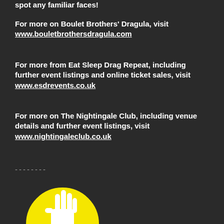spot any familiar faces!
For more on Boulet Brothers' Dragula, visit www.bouletbrothersdragula.com
For more from Eat Sleep Drag Repeat, including further event listings and online ticket sales, visit www.esdrevents.co.uk
For more on The Nightingale Club, including venue details and further event listings, visit www.nightingaleclub.co.uk
--------
[Figure (logo): NOT NORMAL NOT OK. logo — yellow circle with white hand raised, text in black/yellow]